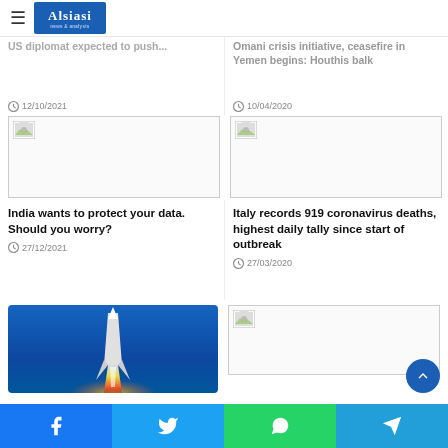Alsiasi
US diplomat expected to push... [cropped]
12/10/2021
Omani crisis initiative, ceasefire in Yemen begins: Houthis balk
10/04/2020
[Figure (photo): Broken image placeholder (left column, middle)]
India wants to protect your data. Should you worry?
27/12/2021
[Figure (photo): Broken image placeholder (right column, middle)]
Italy records 919 coronavirus deaths, highest daily tally since start of outbreak
27/03/2020
[Figure (photo): Rocket launch photograph - rocket with orange flame against blue sky]
[Figure (photo): Broken image placeholder (right column, bottom)]
Facebook | Twitter | WhatsApp | Telegram